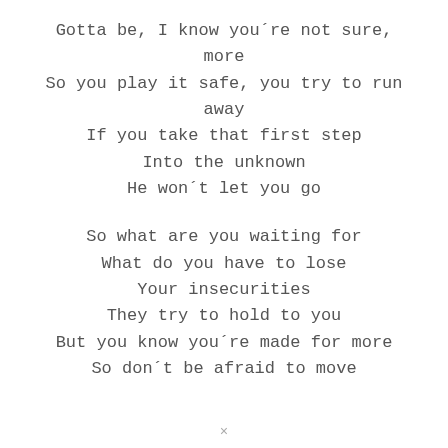Gotta be, I know you´re not sure,
more
So you play it safe, you try to run
away
If you take that first step
Into the unknown
He won´t let you go

So what are you waiting for
What do you have to lose
Your insecurities
They try to hold to you
But you know you´re made for more
So don´t be afraid to move
×